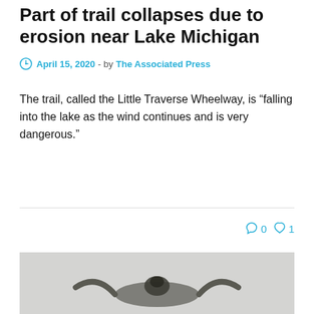Part of trail collapses due to erosion near Lake Michigan
April 15, 2020 - by The Associated Press
The trail, called the Little Traverse Wheelway, is “falling into the lake as the wind continues and is very dangerous.”
0  1
[Figure (photo): Partial view of a bird with spread wings against a gray background, bottom portion of image]